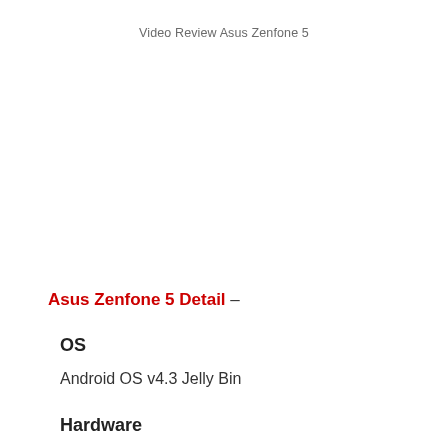Video Review  Asus Zenfone 5
Asus Zenfone 5 Detail –
OS
Android OS v4.3 Jelly Bin
Hardware